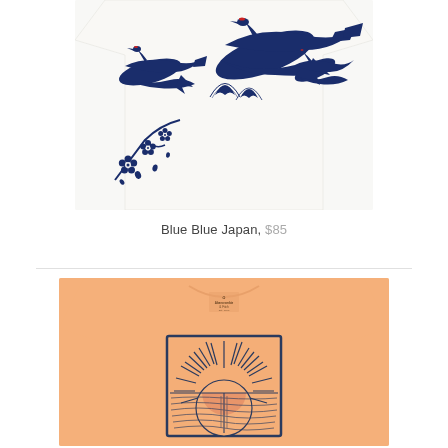[Figure (photo): White t-shirt with blue Japanese-style crane bird and cherry blossom print graphic, cropped view showing the chest/front area.]
Blue Blue Japan, $85
[Figure (photo): Peach/salmon colored Abercrombie & Fitch t-shirt with a navy blue framed graphic print of a rising or setting sun with radiating rays reflecting on water.]